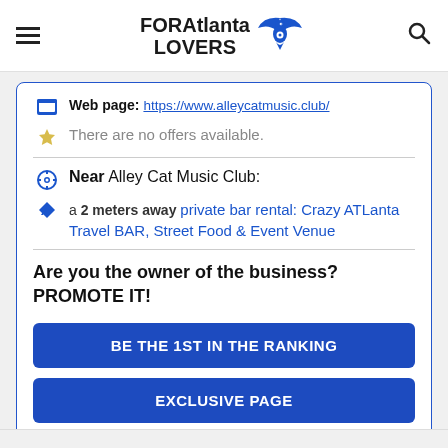FORAtlanta LOVERS
Web page: https://www.alleycatmusic.club/
There are no offers available.
Near Alley Cat Music Club:
a 2 meters away private bar rental: Crazy ATLanta Travel BAR, Street Food & Event Venue
Are you the owner of the business? PROMOTE IT!
BE THE 1ST IN THE RANKING
EXCLUSIVE PAGE